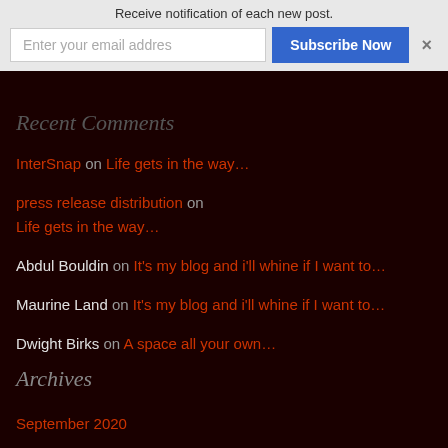Receive notification of each new post.
Enter your email addres | Subscribe Now | ×
Recent Comments
InterSnap on Life gets in the way…
press release distribution on Life gets in the way…
Abdul Bouldin on It's my blog and i'll whine if I want to…
Maurine Land on It's my blog and i'll whine if I want to…
Dwight Birks on A space all your own…
Archives
September 2020